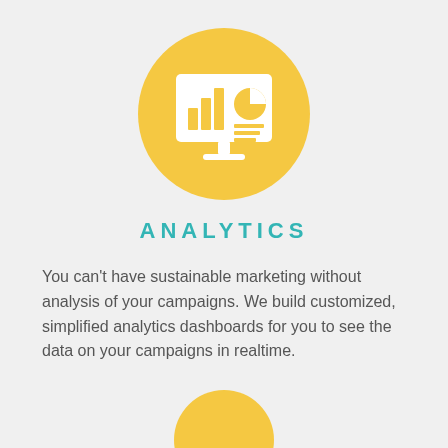[Figure (illustration): Yellow circle with white analytics/dashboard icon showing a monitor with bar chart and pie chart]
ANALYTICS
You can't have sustainable marketing without analysis of your campaigns. We build customized, simplified analytics dashboards for you to see the data on your campaigns in realtime.
[Figure (illustration): Partial yellow circle visible at bottom of page]